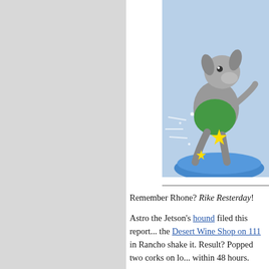[Figure (illustration): Cartoon illustration of Astro the Jetson's dog character sitting or sliding, with stars and motion lines suggesting movement, colored in gray, green, and blue tones.]
Remember Rhone? Rike Resterday!
Astro the Jetson's hound filed this report... the Desert Wine Shop on 111 in Rancho... shake it. Result? Popped two corks on lo... within 48 hours.
These two wines are highly reputed from... reputation.” The two wines [ed: the labels... wines are for “trophy hunters.” Fortunate... tasters learned decades ago it is better t... what we like and leave the trophies to the... Fact of things are we are fans of two red... from the Rhone; Grenache and Mourved... are from Southern Rhone and neither are... bottles.